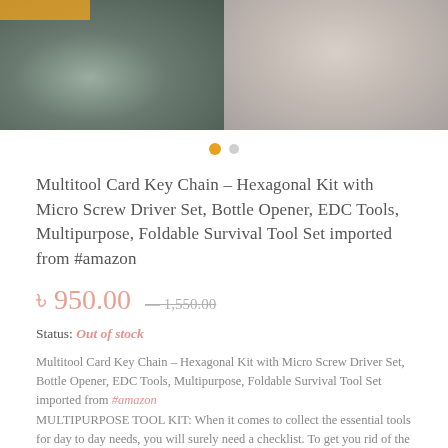[Figure (photo): Two product photos side by side: left shows a dark multitool card key chain device on a surface, right shows similar tool components on a light background]
Multitool Card Key Chain – Hexagonal Kit with Micro Screw Driver Set, Bottle Opener, EDC Tools, Multipurpose, Foldable Survival Tool Set imported from #amazon
৳ 950.00 — 1,550.00
Status: Out of stock
Multitool Card Key Chain – Hexagonal Kit with Micro Screw Driver Set, Bottle Opener, EDC Tools, Multipurpose, Foldable Survival Tool Set imported from #amazon MULTIPURPOSE TOOL KIT: When it comes to collect the essential tools for day to day needs, you will surely need a checklist. To get you rid of the checklist, Steelaid presents a